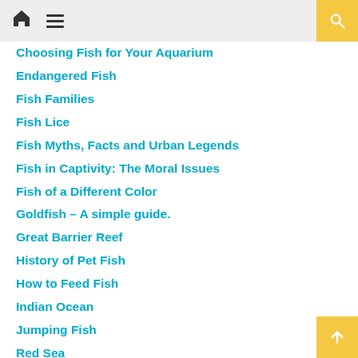Navigation header with home icon, menu icon, and search button
Choosing Fish for Your Aquarium
Endangered Fish
Fish Families
Fish Lice
Fish Myths, Facts and Urban Legends
Fish in Captivity: The Moral Issues
Fish of a Different Color
Goldfish – A simple guide.
Great Barrier Reef
History of Pet Fish
How to Feed Fish
Indian Ocean
Jumping Fish
Red Sea
Some Facts About Sharks
The Doctor Fish
The Fishing Industry
Vacation Time Care for Fish